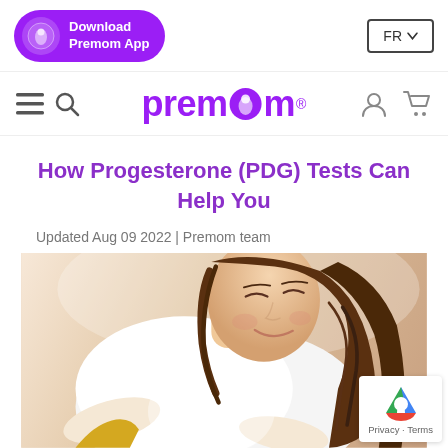Download Premom App | FR
[Figure (logo): Premom logo with purple text and baby icon]
How Progesterone (PDG) Tests Can Help You
Updated Aug 09 2022 | Premom team
[Figure (photo): Smiling pregnant woman in white clothing, looking down and holding her belly]